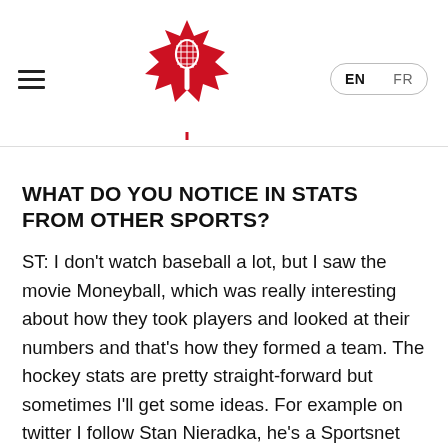[Figure (logo): Tennis Canada logo: red maple leaf with a tennis racket inside, centered at top of page]
WHAT DO YOU NOTICE IN STATS FROM OTHER SPORTS?
ST: I don't watch baseball a lot, but I saw the movie Moneyball, which was really interesting about how they took players and looked at their numbers and that's how they formed a team. The hockey stats are pretty straight-forward but sometimes I'll get some ideas. For example on twitter I follow Stan Nieradka, he's a Sportsnet researcher. He's got pretty good ideas that I'll try to implement in a tennis way. Maybe Stan